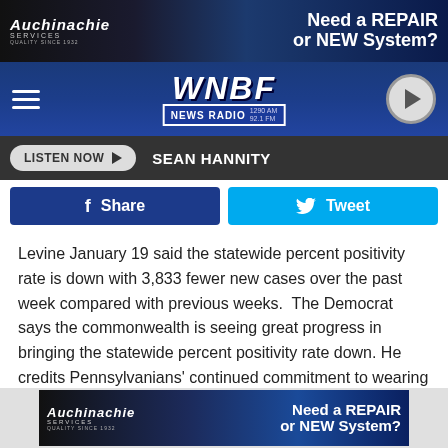[Figure (screenshot): Top advertisement banner for Auchinachie Services: 'Need a REPAIR or NEW System?']
[Figure (logo): WNBF News Radio logo in navigation bar with hamburger menu and play button]
[Figure (screenshot): Listen Now bar with Sean Hannity label]
[Figure (screenshot): Facebook Share and Tweet social sharing buttons]
Levine January 19 said the statewide percent positivity rate is down with 3,833 fewer new cases over the past week compared with previous weeks.  The Democrat says the commonwealth is seeing great progress in bringing the statewide percent positivity rate down. He credits Pennsylvanians' continued commitment to wearing masks and avoiding gatherings.
[Figure (screenshot): Bottom advertisement banner for Auchinachie Services: 'Need a REPAIR or NEW System?']